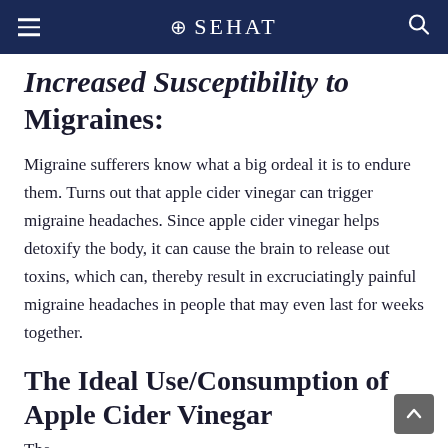⊕SEHAT
Increased Susceptibility to Migraines:
Migraine sufferers know what a big ordeal it is to endure them. Turns out that apple cider vinegar can trigger migraine headaches. Since apple cider vinegar helps detoxify the body, it can cause the brain to release out toxins, which can, thereby result in excruciatingly painful migraine headaches in people that may even last for weeks together.
The Ideal Use/Consumption of Apple Cider Vinegar
The text continues below...